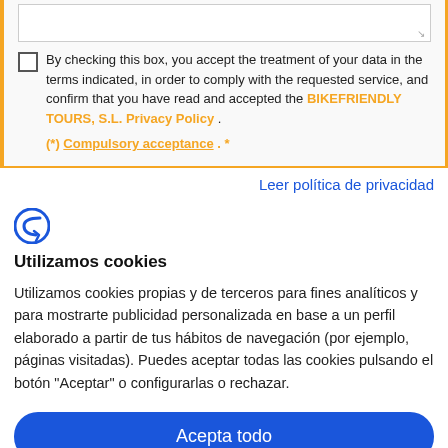By checking this box, you accept the treatment of your data in the terms indicated, in order to comply with the requested service, and confirm that you have read and accepted the BIKEFRIENDLY TOURS, S.L. Privacy Policy . (*) Compulsory acceptance . *
Leer política de privacidad
[Figure (logo): CookieFirst logo - stylized letter C with arrow]
Utilizamos cookies
Utilizamos cookies propias y de terceros para fines analíticos y para mostrarte publicidad personalizada en base a un perfil elaborado a partir de tus hábitos de navegación (por ejemplo, páginas visitadas). Puedes aceptar todas las cookies pulsando el botón "Aceptar" o configurarlas o rechazar.
Acepta todo
Rechazar
Configuración